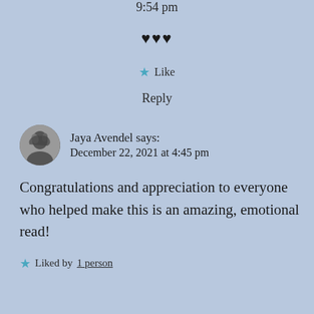9:54 pm
♥♥♥
★ Like
Reply
Jaya Avendel says: December 22, 2021 at 4:45 pm
Congratulations and appreciation to everyone who helped make this is an amazing, emotional read!
★ Liked by 1 person